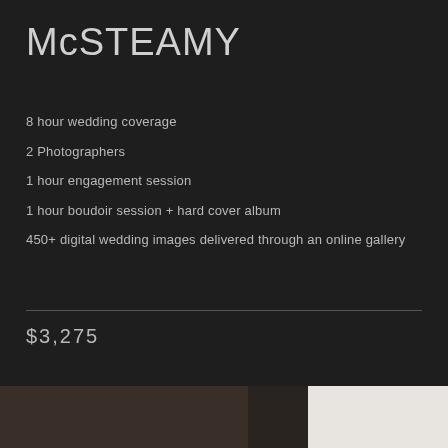McSTEAMY
8 hour wedding coverage
2 Photographers
1 hour engagement session
1 hour boudoir session + hard cover album
450+ digital wedding images delivered through an online gallery
$3,275
[Figure (photo): Three partial photo thumbnails at the bottom of the page showing wedding/boudoir photography]